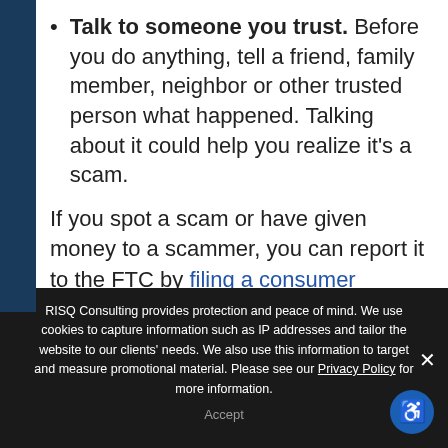Talk to someone you trust. Before you do anything, tell a friend, family member, neighbor or other trusted person what happened. Talking about it could help you realize it's a scam.
If you spot a scam or have given money to a scammer, you can report it to the FTC by filing a consumer complaint online or calling 1-877-FTC-HELP (382-4357). You can also visit the
RISQ Consulting provides protection and peace of mind. We use cookies to capture information such as IP addresses and tailor the website to our clients' needs. We also use this information to target and measure promotional material. Please see our Privacy Policy for more information.
Accept